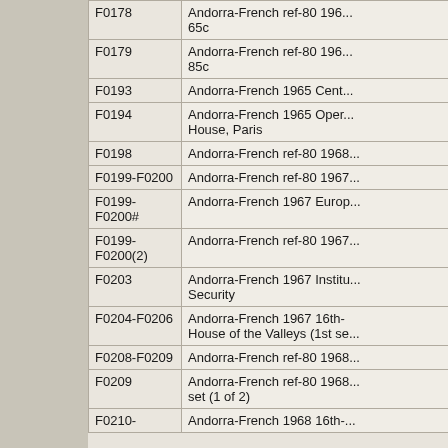| Code | Description |
| --- | --- |
| F0178 | Andorra-French ref-80 196...
65c |
| F0179 | Andorra-French ref-80 196...
85c |
| F0193 | Andorra-French 1965 Cent... |
| F0194 | Andorra-French 1965 Oper...
House, Paris |
| F0198 | Andorra-French ref-80 1968... |
| F0199-F0200 | Andorra-French ref-80 1967... |
| F0199-F0200# | Andorra-French 1967 Europ... |
| F0199-F0200(2) | Andorra-French ref-80 1967... |
| F0203 | Andorra-French 1967 Institu...
Security |
| F0204-F0206 | Andorra-French 1967 16th-...
House of the Valleys (1st se... |
| F0208-F0209 | Andorra-French ref-80 1968... |
| F0209 | Andorra-French ref-80 1968...
set (1 of 2) |
| F0210- | Andorra-French 1968 16th-... |